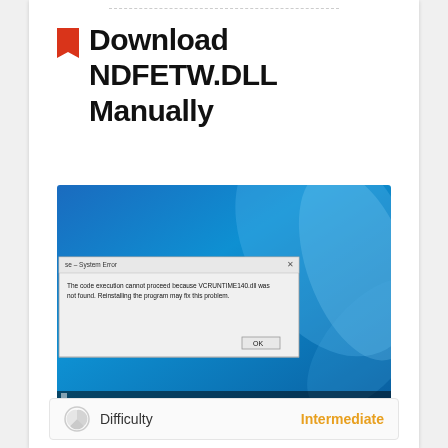Download NDFETW.DLL Manually
[Figure (screenshot): Windows 10 desktop screenshot with a System Error dialog box showing: 'The code execution cannot proceed because VCRUNTIME140.dll was not found. Reinstalling the program may fix this problem.' with an OK button.]
Difficulty   Intermediate